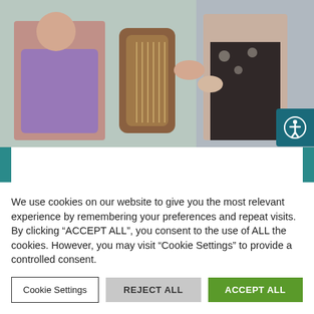[Figure (photo): A child and adult playing guitar together in an early years setting]
A music residency in an Edinburgh early years centre allows children to develop their language skills through music, dance and percussion.
We use cookies on our website to give you the most relevant experience by remembering your preferences and repeat visits. By clicking “ACCEPT ALL”, you consent to the use of ALL the cookies. However, you may visit “Cookie Settings” to provide a controlled consent.